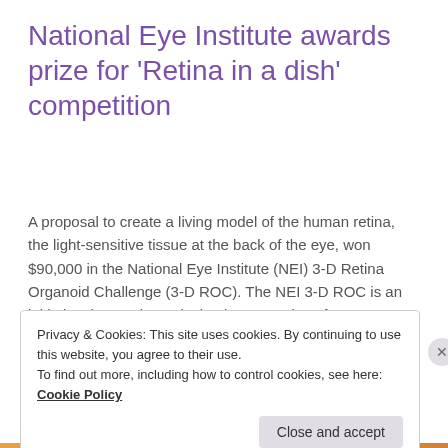National Eye Institute awards prize for ‘Retina in a dish’ competition
A proposal to create a living model of the human retina, the light-sensitive tissue at the back of the eye, won $90,000 in the National Eye Institute (NEI) 3-D Retina Organoid Challenge (3-D ROC). The NEI 3-D ROC is an initiative that seeks to design human retinas from stem cells. Erin Lavik, Sc.D., at the… Read More
September 28, 2017     elavik     Leave a comment
Privacy & Cookies: This site uses cookies. By continuing to use this website, you agree to their use.
To find out more, including how to control cookies, see here: Cookie Policy
Close and accept